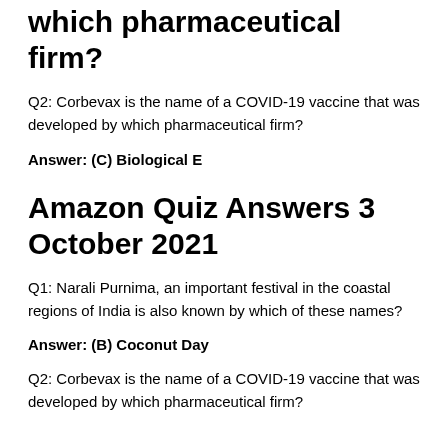which pharmaceutical firm?
Q2: Corbevax is the name of a COVID-19 vaccine that was developed by which pharmaceutical firm?
Answer: (C) Biological E
Amazon Quiz Answers 3 October 2021
Q1: Narali Purnima, an important festival in the coastal regions of India is also known by which of these names?
Answer: (B) Coconut Day
Q2: Corbevax is the name of a COVID-19 vaccine that was developed by which pharmaceutical firm?